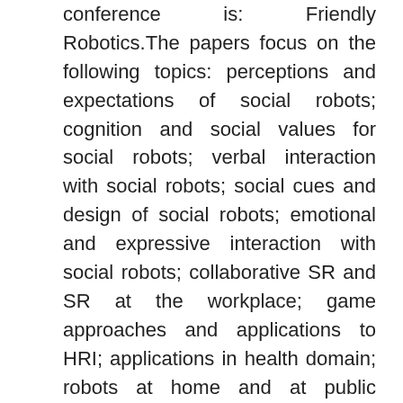conference is: Friendly Robotics. The papers focus on the following topics: perceptions and expectations of social robots; cognition and social values for social robots; verbal interaction with social robots; social cues and design of social robots; emotional and expressive interaction with social robots; collaborative SR and SR at the workplace; game approaches and applications to HRI; applications in health domain; robots at home and at public spaces; robots in education; technical innovations in social robotics; and privacy and safety of the social robots.
ECGBL2015-9th European Conference on Games Based